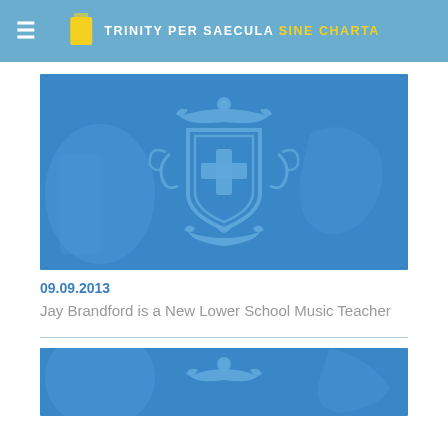TRINITY PER SAECULA SINE CHARTA
[Figure (logo): Blue background with light blue heraldic crest/shield with cross, decorative scrollwork and banner]
09.09.2013
Jay Brandford is a New Lower School Music Teacher
[Figure (logo): Partial blue background with light blue heraldic crest scrollwork at top, second article image]